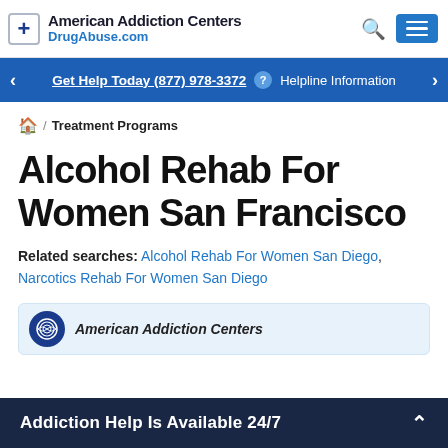American Addiction Centers DrugAbuse.com
Get Help Today (877) 978-3372 ? Helpline Information
/ Treatment Programs
Alcohol Rehab For Women San Francisco
Related searches: Alcohol Rehab For Women San Diego, Narcotics Rehab For Women San Diego
[Figure (screenshot): American Addiction Centers card with logo]
Addiction Help Is Available 24/7